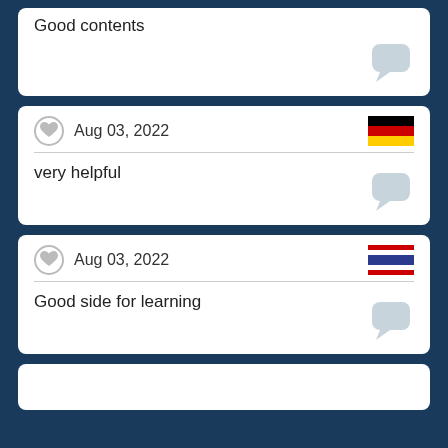Good contents
Aug 03, 2022
very helpful
Aug 03, 2022
Good side for learning